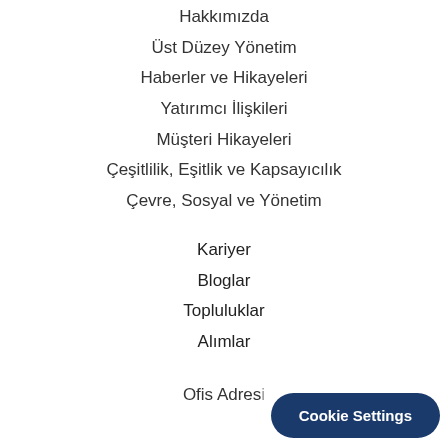Hakkımızda
Üst Düzey Yönetim
Haberler ve Hikayeleri
Yatırımcı İlişkileri
Müşteri Hikayeleri
Çeşitlilik, Eşitlik ve Kapsayıcılık
Çevre, Sosyal ve Yönetim
Kariyer
Bloglar
Topluluklar
Alımlar
Ofis Adresi
Cookie Settings